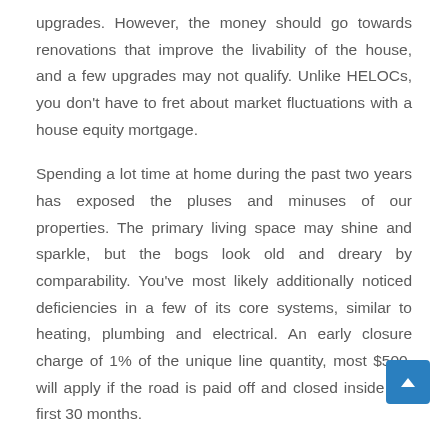upgrades. However, the money should go towards renovations that improve the livability of the house, and a few upgrades may not qualify. Unlike HELOCs, you don't have to fret about market fluctuations with a house equity mortgage.
Spending a lot time at home during the past two years has exposed the pluses and minuses of our properties. The primary living space may shine and sparkle, but the bogs look old and dreary by comparability. You've most likely additionally noticed deficiencies in a few of its core systems, similar to heating, plumbing and electrical. An early closure charge of 1% of the unique line quantity, most $500, will apply if the road is paid off and closed inside the first 30 months.
If so, you can cut back the taxable acquire by including the enhancements in the cost basis of the home. In the